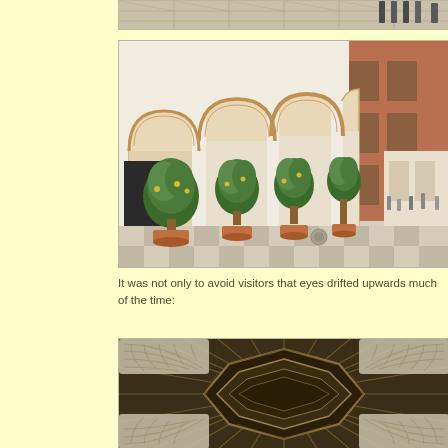[Figure (photo): Partial view of an architectural courtyard with tiled/gridded floor and figures visible at the top right corner.]
[Figure (photo): Courtyard of a historic building with Moorish-style brick arches, white columns, and potted olive or citrus trees in terracotta pots along a checkered stone floor.]
It was not only to avoid visitors that eyes drifted upwards much of the time:
[Figure (photo): Close-up of an intricately carved wooden ceiling or dome with radiating geometric patterns, characteristic of Mudéjar or Moorish architecture.]